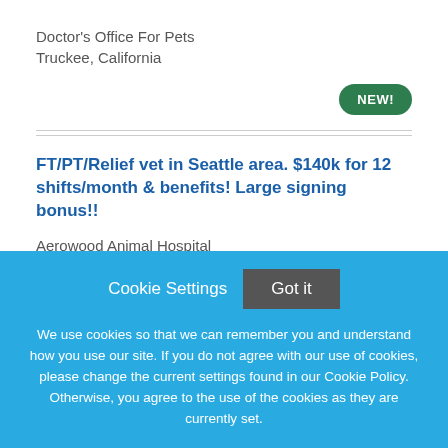Doctor's Office For Pets
Truckee, California
NEW!
FT/PT/Relief vet in Seattle area. $140k for 12 shifts/month & benefits! Large signing bonus!!
Aerowood Animal Hospital
Bellevue, Washington
Cookie Settings  Got it

We use cookies so that we can remember you and understand how you use our site. If you do not agree with our use of cookies, please change the current settings found in our Cookie Policy. Otherwise, you agree to the use of the cookies as they are currently set.